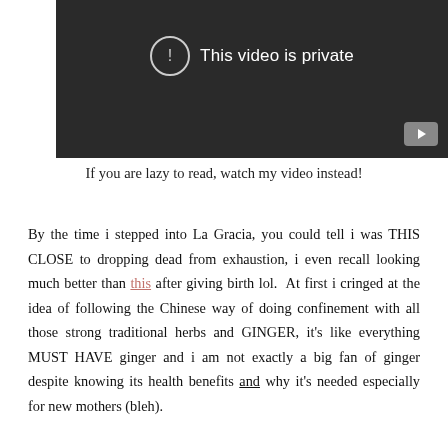[Figure (screenshot): YouTube-style video embed showing 'This video is private' message with a circle-exclamation icon on a dark background, and a YouTube play button icon in the bottom right corner.]
If you are lazy to read, watch my video instead!
By the time i stepped into La Gracia, you could tell i was THIS CLOSE to dropping dead from exhaustion, i even recall looking much better than this after giving birth lol. At first i cringed at the idea of following the Chinese way of doing confinement with all those strong traditional herbs and GINGER, it's like everything MUST HAVE ginger and i am not exactly a big fan of ginger despite knowing its health benefits and why it's needed especially for new mothers (bleh).